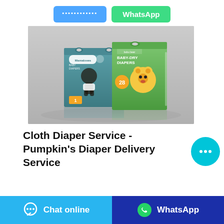[Figure (screenshot): Two blue and green action buttons at the top: a blue button with Thai/Asian script text and a green WhatsApp button]
[Figure (photo): Product photo showing two diaper boxes: 'Mamaloves Baby Diapers' (teal/grey box) and 'bubu bear Baby-Dry Diapers' (green box) on a reflective surface]
Cloth Diaper Service - Pumpkin's Diaper Delivery Service
[Figure (other): Floating teal circular chat button with three dots icon]
Chat online
WhatsApp